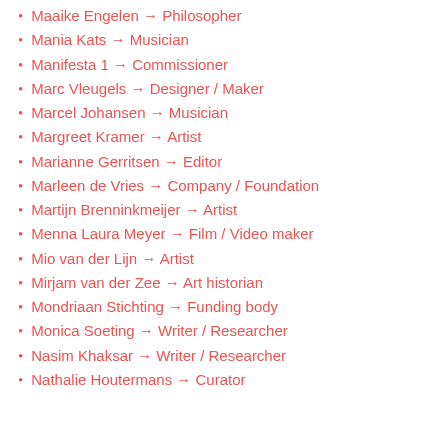Maaike Engelen → Philosopher
Mania Kats → Musician
Manifesta 1 → Commissioner
Marc Vleugels → Designer / Maker
Marcel Johansen → Musician
Margreet Kramer → Artist
Marianne Gerritsen → Editor
Marleen de Vries → Company / Foundation
Martijn Brenninkmeijer → Artist
Menna Laura Meyer → Film / Video maker
Mio van der Lijn → Artist
Mirjam van der Zee → Art historian
Mondriaan Stichting → Funding body
Monica Soeting → Writer / Researcher
Nasim Khaksar → Writer / Researcher
Nathalie Houtermans → Curator